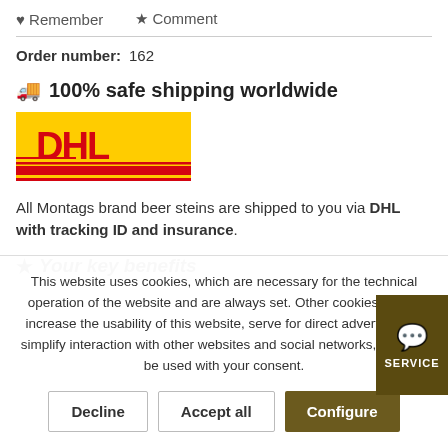♥ Remember   ★ Comment
Order number: 162
🚚 100% safe shipping worldwide
[Figure (logo): DHL logo — yellow background with red DHL lettering and red horizontal stripes]
All Montags brand beer steins are shipped to you via DHL with tracking ID and insurance.
★ Your key benefits
This website uses cookies, which are necessary for the technical operation of the website and are always set. Other cookies, which increase the usability of this website, serve for direct advertising or simplify interaction with other websites and social networks, will only be used with your consent.